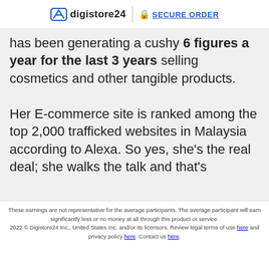digistore24 | SECURE ORDER
has been generating a cushy 6 figures a year for the last 3 years selling cosmetics and other tangible products.

Her E-commerce site is ranked among the top 2,000 trafficked websites in Malaysia according to Alexa. So yes, she's the real deal; she walks the talk and that's
These earnings are not representative for the average participants. The average participant will earn significantly less or no money at all through this product or service.
2022 © Digistore24 Inc., United States Inc. and/or its licensors. Review legal terms of use here and privacy policy here. Contact us here.